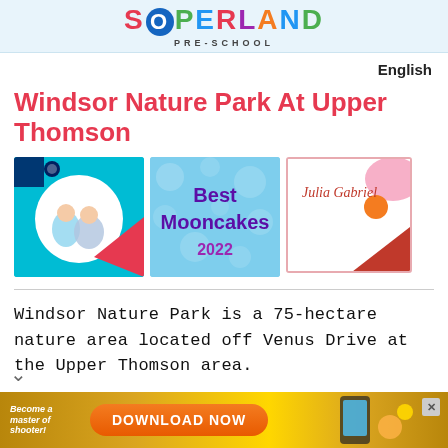SUPERLAND PRE-SCHOOL
English
Windsor Nature Park At Upper Thomson
[Figure (photo): Three thumbnail images: (1) Two children on cyan background (Clairemont preschool), (2) Best Mooncakes 2022 text on bokeh blue background, (3) Julia Gabriel branding card with pink, orange, red geometric shapes]
Windsor Nature Park is a 75-hectare nature area located off Venus Drive at the Upper Thomson area.
[Figure (other): Advertisement banner: 'Become a master of shooter!' with orange DOWNLOAD NOW button on gold/yellow background]